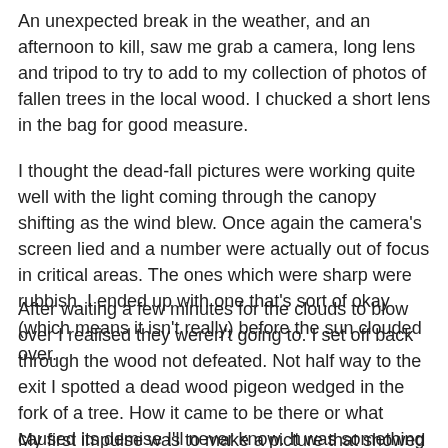An unexpected break in the weather, and an afternoon to kill, saw me grab a camera, long lens and tripod to try to add to my collection of photos of fallen trees in the local wood. I chucked a short lens in the bag for good measure.
I thought the dead-fall pictures were working quite well with the light coming through the canopy shifting as the wind blew. Once again the camera's screen lied and a number were actually out of focus in critical areas. The ones which were sharp were rubbish. I ended up with one that's sort of okay (which means it isn't really) before the sun clouded over.
After waiting a few minutes for the clouds to blow over I realised they weren't going to. I set off back through the wood not defeated. Not half way to the exit I spotted a dead wood pigeon wedged in the fork of a tree. How it came to be there or what caused its demise I'll never know. It was something to photography though.
My first impulse was to make a picture that showed the